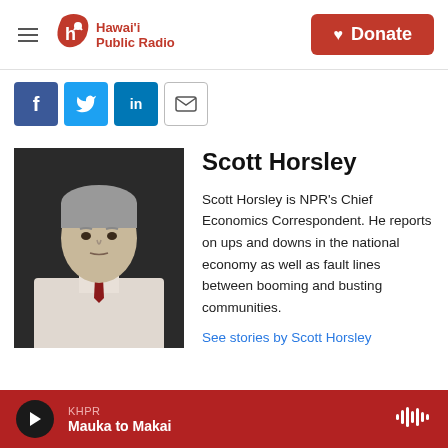Hawai'i Public Radio — Donate
[Figure (screenshot): Social share buttons: Facebook, Twitter, LinkedIn, Email]
[Figure (photo): Headshot of Scott Horsley, a man with grey hair wearing a white shirt and red tie, against a dark background]
Scott Horsley
Scott Horsley is NPR's Chief Economics Correspondent. He reports on ups and downs in the national economy as well as fault lines between booming and busting communities.
See stories by Scott Horsley
KHPR Mauka to Makai